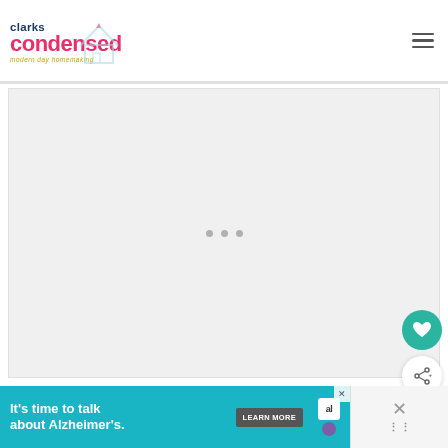[Figure (logo): Clarks Condensed blog logo with house illustration and tagline 'modern day homemaking']
[Figure (screenshot): Main content image area showing loading placeholder with three dots]
[Figure (illustration): Teal circular heart/save button floating on right side]
[Figure (illustration): White circular share button with plus icon floating on right side]
WHAT'S NEXT → Easy Halloween...
[Figure (photo): Thumbnail image for 'Easy Halloween...' article showing purple/green abstract]
[Figure (advertisement): Alzheimer's Association ad: It's time to talk about Alzheimer's. LEARN MORE]
[Figure (other): Pink scroll-to-top button on right side]
[Figure (other): Right side ad close/dismiss controls with X and dots]